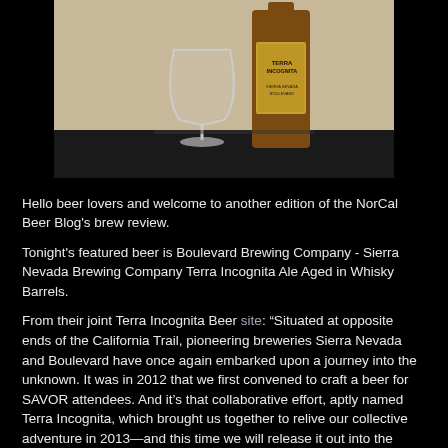[Figure (photo): A photo of a beer bottle labeled 'Terra Incognita' next to an empty stemmed beer glass, on a dark surface, with a light background behind.]
Hello beer lovers and welcome to another edition of the NorCal Beer Blog's brew review.
Tonight's featured beer is Boulevard Brewing Company - Sierra Nevada Brewing Company Terra Incognita Ale Aged in Whisky Barrels.
From their joint Terra Incognita Beer site: “Situated at opposite ends of the California Trail, pioneering breweries Sierra Nevada and Boulevard have once again embarked upon a journey into the unknown. It was in 2012 that we first convened to craft a beer for SAVOR attendees. And it’s that collaborative effort, aptly named Terra Incognita, which brought us together to relive our collective adventure in 2013—and this time we will release it out into the world.